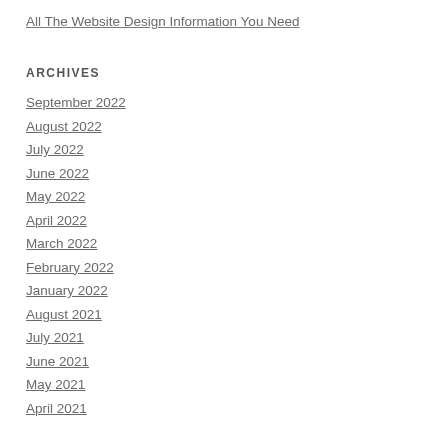All The Website Design Information You Need
ARCHIVES
September 2022
August 2022
July 2022
June 2022
May 2022
April 2022
March 2022
February 2022
January 2022
August 2021
July 2021
June 2021
May 2021
April 2021